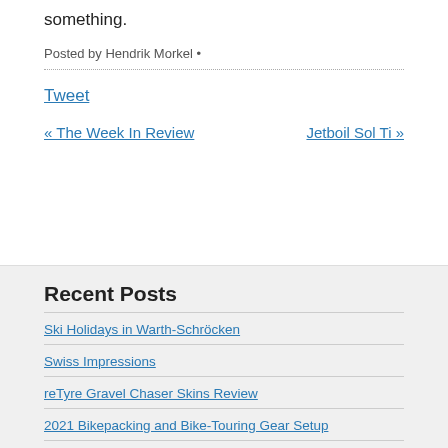something.
Posted by Hendrik Morkel •
Tweet
« The Week In Review    Jetboil Sol Ti »
Recent Posts
Ski Holidays in Warth-Schröcken
Swiss Impressions
reTyre Gravel Chaser Skins Review
2021 Bikepacking and Bike-Touring Gear Setup
Summer in Levi, Lapland: Hikes and Bikes